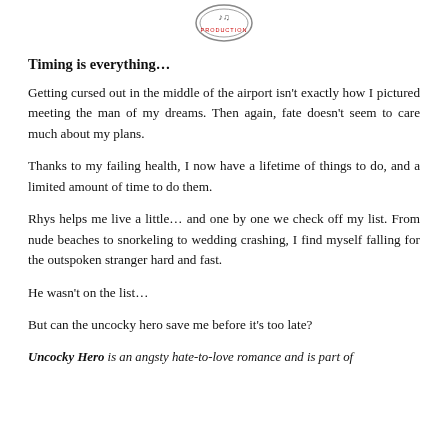[Figure (logo): Circular production company logo/stamp at top center]
Timing is everything…
Getting cursed out in the middle of the airport isn't exactly how I pictured meeting the man of my dreams. Then again, fate doesn't seem to care much about my plans.
Thanks to my failing health, I now have a lifetime of things to do, and a limited amount of time to do them.
Rhys helps me live a little… and one by one we check off my list. From nude beaches to snorkeling to wedding crashing, I find myself falling for the outspoken stranger hard and fast.
He wasn't on the list…
But can the uncocky hero save me before it's too late?
Uncocky Hero is an angsty hate-to-love romance and is part of